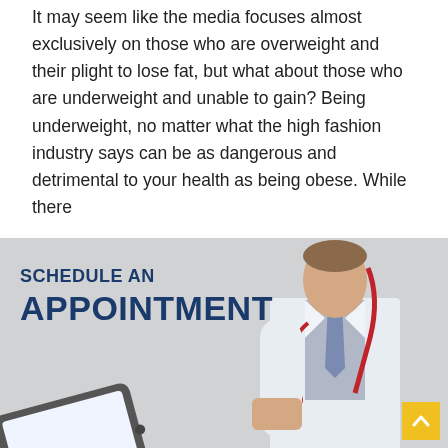It may seem like the media focuses almost exclusively on those who are overweight and their plight to lose fat, but what about those who are underweight and unable to gain? Being underweight, no matter what the high fashion industry says can be as dangerous and detrimental to your health as being obese. While there
[Figure (illustration): Banner with light grey background showing 'SCHEDULE AN APPOINTMENT' text in dark navy blue on the left. On the right is a doctor in a white coat wearing a stethoscope, and in the lower left is a hand holding a tablet device. A yellow scroll-to-top button with an upward arrow is in the bottom-right corner.]